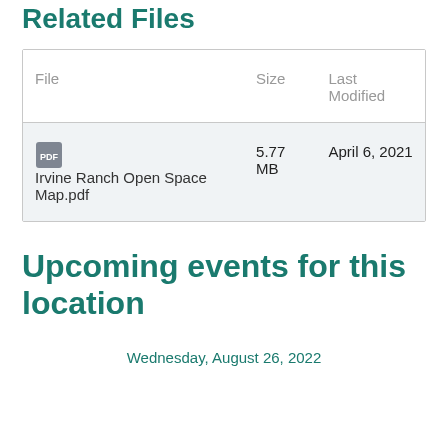Related Files
| File | Size | Last Modified |
| --- | --- | --- |
| [PDF icon] Irvine Ranch Open Space Map.pdf | 5.77 MB | April 6, 2021 |
Upcoming events for this location
Wednesday, August 26, 2022